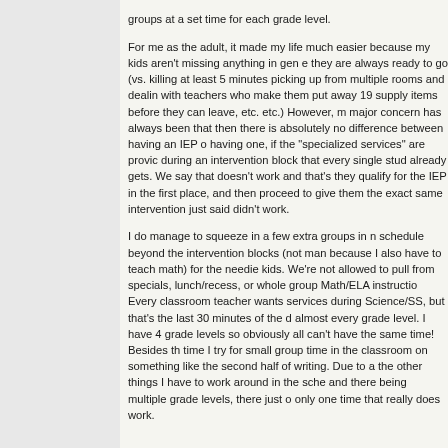groups at a set time for each grade level.

For me as the adult, it made my life much easier because my kids aren't missing anything in gen e they are always ready to go (vs. killing at least 5 minutes picking up from multiple rooms and dealin with teachers who make them put away 19 supply items before they can leave, etc. etc.) However, m major concern has always been that then there is absolutely no difference between having an IEP o having one, if the "specialized services" are provic during an intervention block that every single stud already gets. We say that doesn't work and that's they qualify for the IEP in the first place, and then proceed to give them the exact same intervention just said didn't work.

I do manage to squeeze in a few extra groups in n schedule beyond the intervention blocks (not man because I also have to teach math) for the needie kids. We're not allowed to pull from specials, lunch/recess, or whole group Math/ELA instructio Every classroom teacher wants services during Science/SS, but that's the last 30 minutes of the d almost every grade level. I have 4 grade levels so obviously all can't have the same time! Besides th time I try for small group time in the classroom on something like the second half of writing. Due to a the other things I have to work around in the sche and there being multiple grade levels, there just o only one time that really does work.